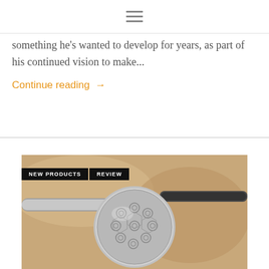☰
something he's wanted to develop for years, as part of his continued vision to make...
Continue reading →
[Figure (photo): Close-up photo of an ornate silver metalwork bead or sphere with intricate circular and floral patterns, being held or worked with tools. Labels: NEW PRODUCTS, REVIEW overlaid on top left.]